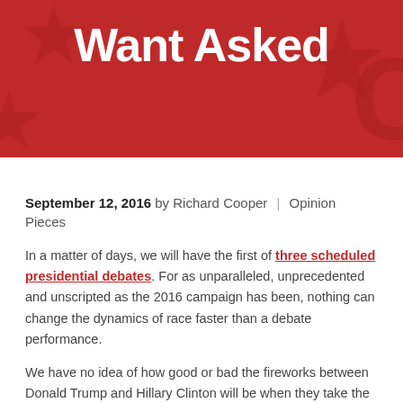[Figure (illustration): Red banner header with stars pattern and white bold text reading 'Want Asked']
September 12, 2016 by Richard Cooper | Opinion Pieces
In a matter of days, we will have the first of three scheduled presidential debates. For as unparalleled, unprecedented and unscripted as the 2016 campaign has been, nothing can change the dynamics of race faster than a debate performance.
We have no idea of how good or bad the fireworks between Donald Trump and Hillary Clinton will be when they take the debate stage, but we know they will memorable. The moderators for these events (probably more like whip-wielding, time-keeping lion tamers) have a huge responsibility, and if given the opportunity to be one of them, I know what questions I would like to ask them about homeland and